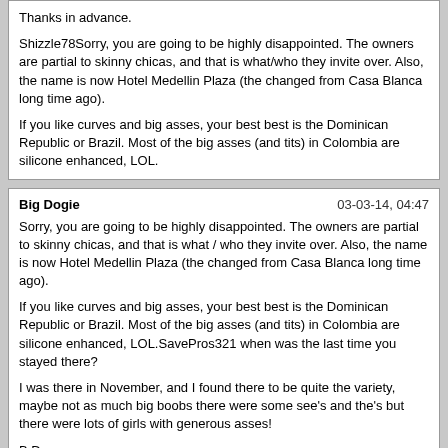Thanks in advance.

Shizzle78Sorry, you are going to be highly disappointed. The owners are partial to skinny chicas, and that is what/who they invite over. Also, the name is now Hotel Medellin Plaza (the changed from Casa Blanca long time ago).

If you like curves and big asses, your best best is the Dominican Republic or Brazil. Most of the big asses (and tits) in Colombia are silicone enhanced, LOL.
Big Dogie | 03-03-14, 04:47

Sorry, you are going to be highly disappointed. The owners are partial to skinny chicas, and that is what / who they invite over. Also, the name is now Hotel Medellin Plaza (the changed from Casa Blanca long time ago).

If you like curves and big asses, your best best is the Dominican Republic or Brazil. Most of the big asses (and tits) in Colombia are silicone enhanced, LOL.SavePros321 when was the last time you stayed there?

I was there in November, and I found there to be quite the variety, maybe not as much big boobs there were some see's and the's but there were lots of girls with generous asses!

B D
SavePros321 | 03-03-14, 16:07

SavePros321 when was the last time you stayed there?

I was there in November, and I found there to be quite the variety, maybe not as much big boobs there were some see's and the's but there were lots of girls with generous asses!

B DI'm pretty familiar with most of the Mansion's lineup. I challenge you to name one Mansion chica with a big ass and curves like Shizzle78 mentioned he was looking for.